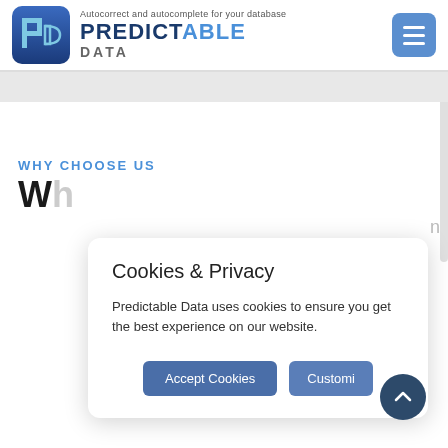[Figure (logo): Predictable Data logo with icon and tagline 'Autocorrect and autocomplete for your database']
WHY CHOOSE US
Wh
Cookies & Privacy
Predictable Data uses cookies to ensure you get the best experience on our website.